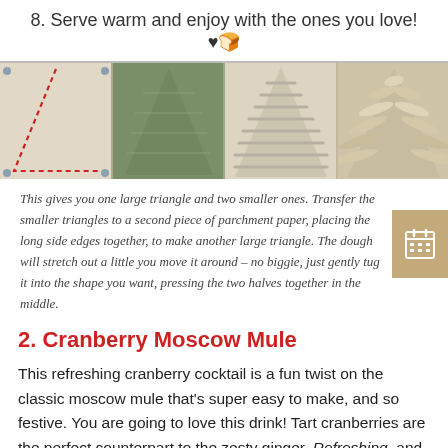8. Serve warm and enjoy with the ones you love! ♥🍞
[Figure (photo): Four-panel photo strip showing steps of making a Christmas tree bread: panel 1 shows dough with red dotted triangle outline, panel 2 shows dough covered with green herb filling, panel 3 shows folded/layered dough strips, panel 4 shows twisted dough strips forming a tree shape.]
This gives you one large triangle and two smaller ones. Transfer the smaller triangles to a second piece of parchment paper, placing the long side edges together, to make another large triangle. The dough will stretch out a little you move it around – no biggie, just gently tug it into the shape you want, pressing the two halves together in the middle.
2. Cranberry Moscow Mule
This refreshing cranberry cocktail is a fun twist on the classic moscow mule that's super easy to make, and so festive. You are going to love this drink! Tart cranberries are the perfect counterpart to the zesty ginger. Refreshing, and gorgeous, too!